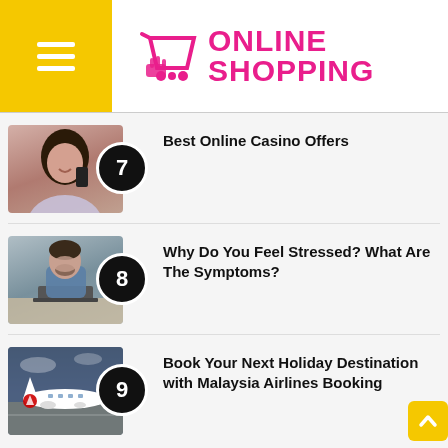ONLINE SHOPPING
7 Best Online Casino Offers
8 Why Do You Feel Stressed? What Are The Symptoms?
9 Book Your Next Holiday Destination with Malaysia Airlines Booking